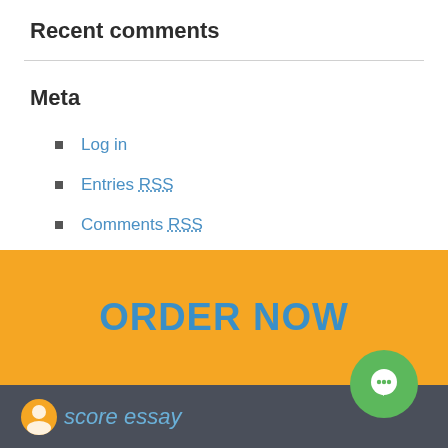Recent comments
Meta
Log in
Entries RSS
Comments RSS
WordPress.org
ORDER NOW
[Figure (logo): Score essay logo with orange circle icon and italic text in footer]